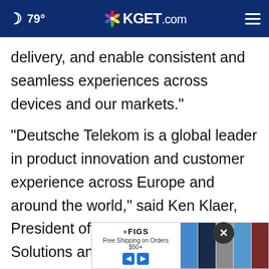🌙 79° | KGET.com
delivery, and enable consistent and seamless experiences across devices and our markets."
"Deutsche Telekom is a global leader in product innovation and customer experience across Europe and around the world," said Ken Klaer, President of Comcast Technology Solutions and Executive Vice President of Comcast Cable. "We are extremely honored that they selected our team to help support the next-generation of Mage[...] TV Suite. We have an incredibly strong and
[Figure (screenshot): Advertisement banner for FIGS with clothing images and Free Shipping on Orders $50+ text. Close button (X) visible in the overlay.]